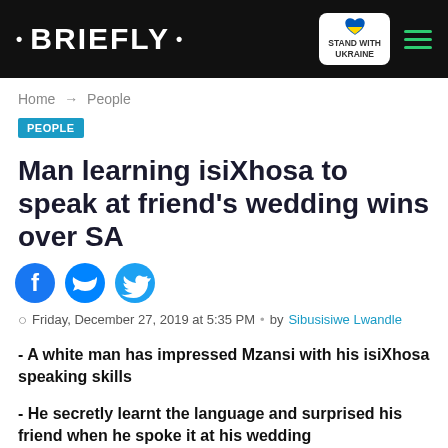· BRIEFLY · | STAND WITH UKRAINE
Home → People
PEOPLE
Man learning isiXhosa to speak at friend's wedding wins over SA
Friday, December 27, 2019 at 5:35 PM · by Sibusisiwe Lwandle
- A white man has impressed Mzansi with his isiXhosa speaking skills
- He secretly learnt the language and surprised his friend when he spoke it at his wedding